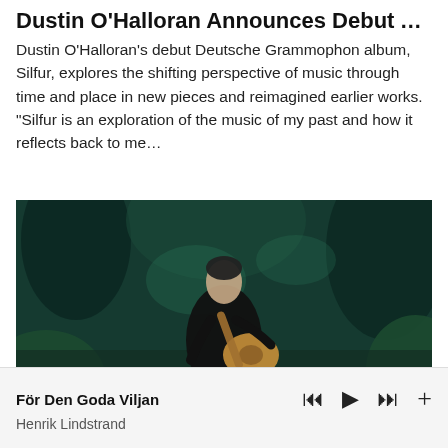Dustin O'Halloran Announces Debut Albu...
Dustin O'Halloran's debut Deutsche Grammophon album, Silfur, explores the shifting perspective of music through time and place in new pieces and reimagined earlier works. “Silfur is an exploration of the music of my past and how it reflects back to me…
[Figure (photo): A man in dark clothing sitting on a mossy rock playing a classical guitar, in a lush forest setting. The text 'MILOŠ' is overlaid at the bottom of the image.]
27.05.2021
För Den Goda Viljan
Henrik Lindstrand